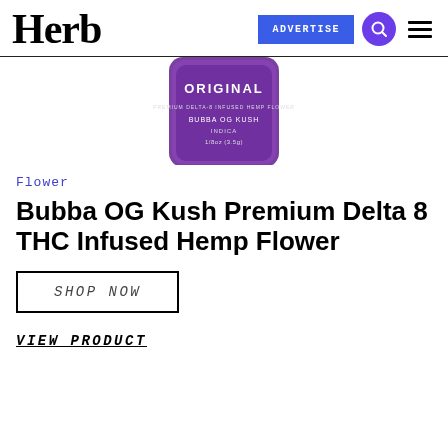Herb | ADVERTISE
[Figure (photo): Purple cylindrical container labeled ORIGINAL - BUBBA OG KUSH INDICA hemp flower product, partially cropped at top]
Flower
Bubba OG Kush Premium Delta 8 THC Infused Hemp Flower
SHOP NOW
VIEW PRODUCT